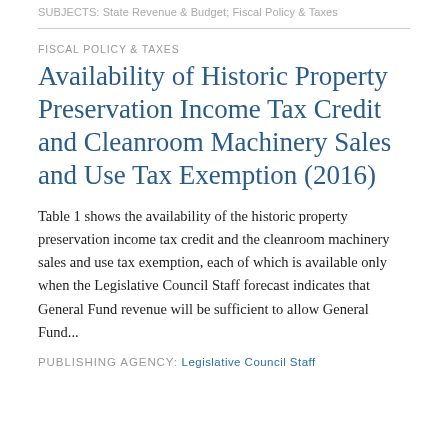SUBJECTS: State Revenue & Budget; Fiscal Policy & Taxes
FISCAL POLICY & TAXES
Availability of Historic Property Preservation Income Tax Credit and Cleanroom Machinery Sales and Use Tax Exemption (2016)
Table 1 shows the availability of the historic property preservation income tax credit and the cleanroom machinery sales and use tax exemption, each of which is available only when the Legislative Council Staff forecast indicates that General Fund revenue will be sufficient to allow General Fund...
PUBLISHING AGENCY: Legislative Council Staff